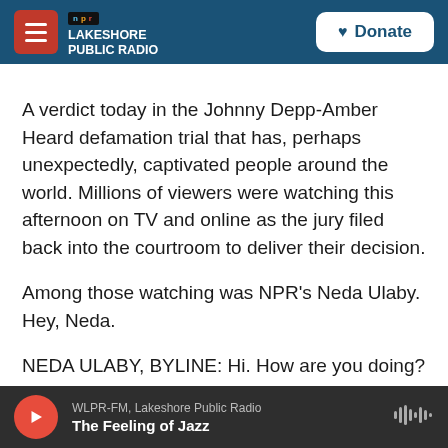NPR - LAKESHORE PUBLIC RADIO | Donate
A verdict today in the Johnny Depp-Amber Heard defamation trial that has, perhaps unexpectedly, captivated people around the world. Millions of viewers were watching this afternoon on TV and online as the jury filed back into the courtroom to deliver their decision.
Among those watching was NPR's Neda Ulaby. Hey, Neda.
NEDA ULABY, BYLINE: Hi. How are you doing?
WLPR-FM, Lakeshore Public Radio | The Feeling of Jazz